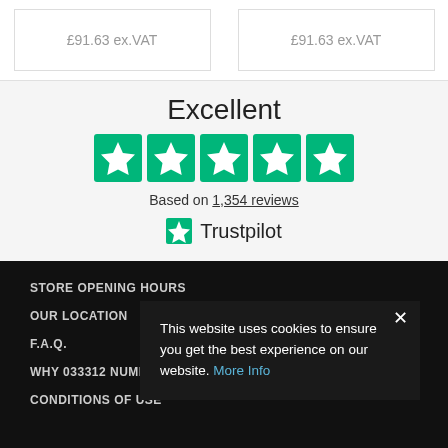£91.63 ex.VAT
£91.63 ex.VAT
Excellent
[Figure (other): Five green Trustpilot star rating boxes]
Based on 1,354 reviews
[Figure (logo): Trustpilot logo with green star]
STORE OPENING HOURS
OUR LOCATION
F.A.Q.
WHY 033312 NUMBER?
CONDITIONS OF USE
This website uses cookies to ensure you get the best experience on our website. More Info